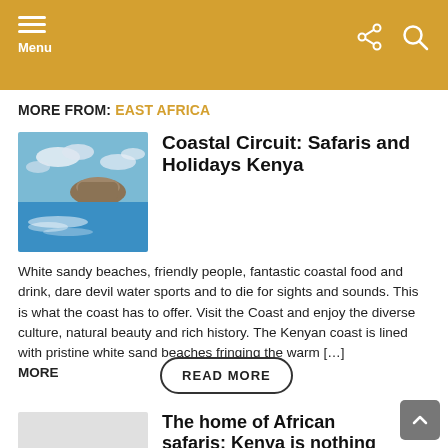Menu
MORE FROM: EAST AFRICA
[Figure (photo): Ocean view with island in background and wake behind boat]
Coastal Circuit: Safaris and Holidays Kenya
White sandy beaches, friendly people, fantastic coastal food and drink, dare devil water sports and to die for sights and sounds. This is what the coast has to offer. Visit the Coast and enjoy the diverse culture, natural beauty and rich history. The Kenyan coast is lined with pristine white sand beaches fringing the warm […] MORE
READ MORE
The home of African safaris: Kenya is nothing if not eclectic